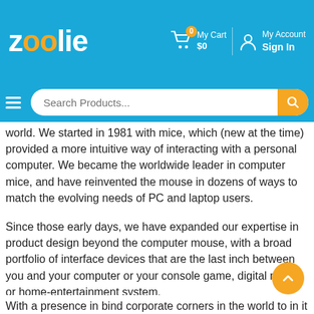zoolie — My Cart $0 | My Account Sign In
[Figure (screenshot): Zoolie e-commerce website header with logo, cart icon showing 0 items and $0, My Account/Sign In link, hamburger menu, and search bar with orange search button]
world. We started in 1981 with mice, which (new at the time) provided a more intuitive way of interacting with a personal computer. We became the worldwide leader in computer mice, and have reinvented the mouse in dozens of ways to match the evolving needs of PC and laptop users.
Since those early days, we have expanded our expertise in product design beyond the computer mouse, with a broad portfolio of interface devices that are the last inch between you and your computer or your console game, digital music or home-entertainment system.
With a presence in bind corporate corners in the world to in it